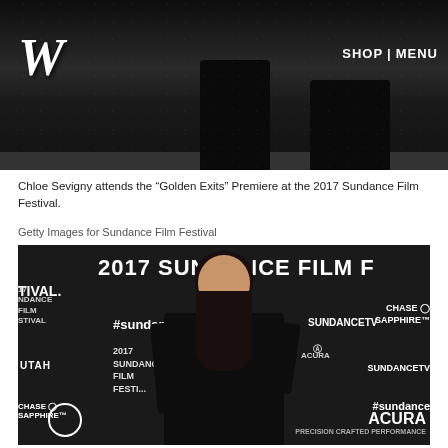[Figure (photo): Dark photo showing legs and boots on a dark floor, with W magazine logo and SHOP / MENU navigation links overlaid]
Chloe Sevigny attends the “Golden Exits” Premiere at the 2017 Sundance Film Festival.
Getty Images for Sundance Film Festival
[Figure (photo): Woman in black off-shoulder dress posing at the 2017 Sundance Film Festival step-and-repeat backdrop with logos including #sundance, SundanceTV, Chase Sapphire, Acura, and UTAH]